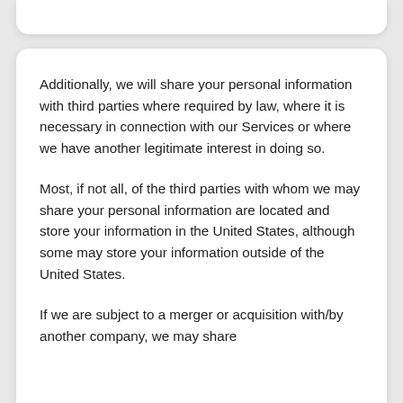Additionally, we will share your personal information with third parties where required by law, where it is necessary in connection with our Services or where we have another legitimate interest in doing so.
Most, if not all, of the third parties with whom we may share your personal information are located and store your information in the United States, although some may store your information outside of the United States.
If we are subject to a merger or acquisition with/by another company, we may share